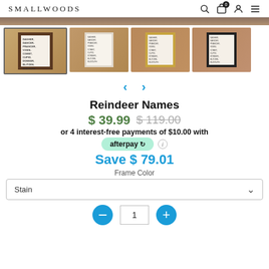SMALLWOODS
[Figure (photo): Top cropped product photo strip showing framed sign in a room]
[Figure (photo): Four thumbnail images of Reindeer Names framed signs in different frame colors on wood-paneled walls]
Reindeer Names
$ 39.99  $ 119.00
or 4 interest-free payments of $10.00 with
[Figure (logo): Afterpay logo badge in mint green rounded rectangle]
Save $ 79.01
Frame Color
Stain
1